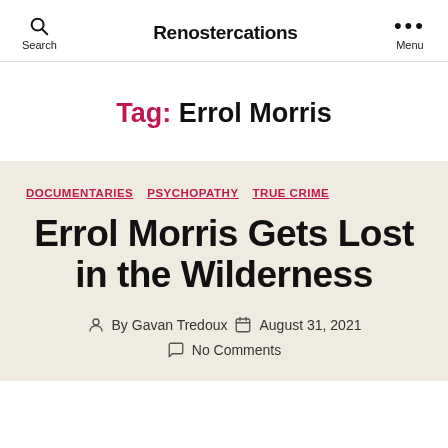Search  Renostercations  Menu
Tag: Errol Morris
DOCUMENTARIES  PSYCHOPATHY  TRUE CRIME
Errol Morris Gets Lost in the Wilderness
By Gavan Tredoux  August 31, 2021  No Comments